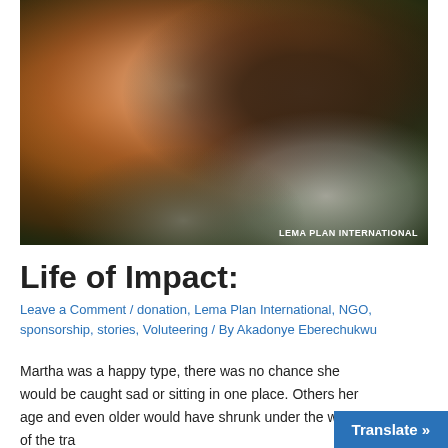[Figure (photo): Two people smiling: a young woman with red/auburn hair on the left, and a young child with dark skin on the right. Photo credit: LEMA PLAN INTERNATIONAL]
Life of Impact:
Leave a Comment / donation, Lema Plan International, NGO, sponsorship, stories, Voluteering / By Akadonye Eberechukwu
Martha was a happy type, there was no chance she would be caught sad or sitting in one place. Others her age and even older would have shrunk under the weight of the tra…